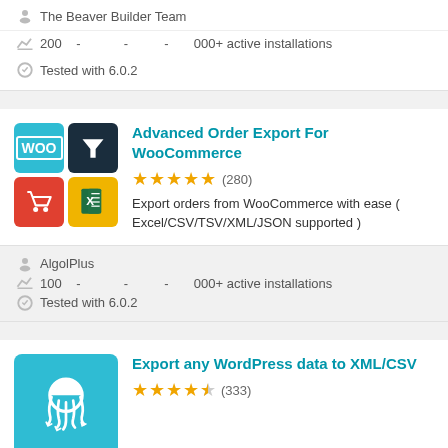The Beaver Builder Team
200 - - - 000+ active installations
Tested with 6.0.2
Advanced Order Export For WooCommerce
★★★★★ (280)
Export orders from WooCommerce with ease ( Excel/CSV/TSV/XML/JSON supported )
[Figure (illustration): Plugin icon grid: WooCommerce logo (teal), funnel icon (dark), shopping cart (red), Excel spreadsheet icon (yellow/green)]
AlgolPlus
100 - - - 000+ active installations
Tested with 6.0.2
Export any WordPress data to XML/CSV
★★★★½ (333)
[Figure (illustration): Teal plugin icon with white octopus/WP Umbrella logo]